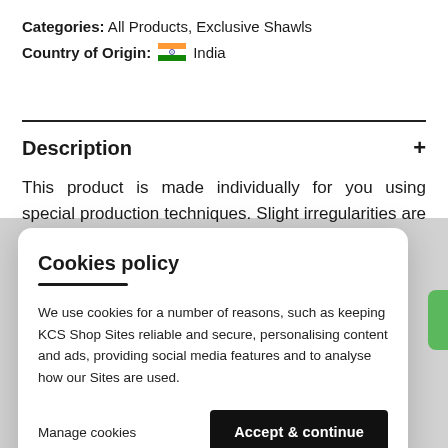Categories: All Products, Exclusive Shawls
Country of Origin: 🇮🇳 India
Description +
This product is made individually for you using special production techniques. Slight irregularities are part of its individual character.
Cookies policy
We use cookies for a number of reasons, such as keeping KCS Shop Sites reliable and secure, personalising content and ads, providing social media features and to analyse how our Sites are used.
Manage cookies
Accept & continue